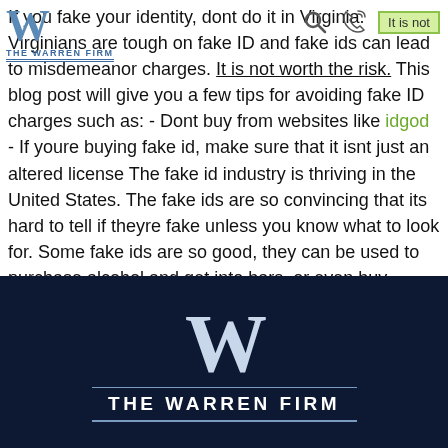If you fake your identity, dont do it in Virginia. Virginians are tough on fake ID and fake ids can lead to misdemeanor charges. It is not worth the risk. This blog post will give you a few tips for avoiding fake ID charges such as: - Dont buy from websites like idgod - If youre buying fake id, make sure that it isnt just an altered license The fake id industry is thriving in the United States. The fake ids are so convincing that its hard to tell if theyre fake unless you know what to look for. Some fake ids are so good, they can be used to purchase alcohol and get into bars, or even buy cigarettes from a store.
[Figure (logo): The Warren Firm logo — stylized W lettermark in blue with THE WARREN FIRM text beneath, used as page header logo]
THE WARREN FIRM — footer logo with large W lettermark on dark navy background